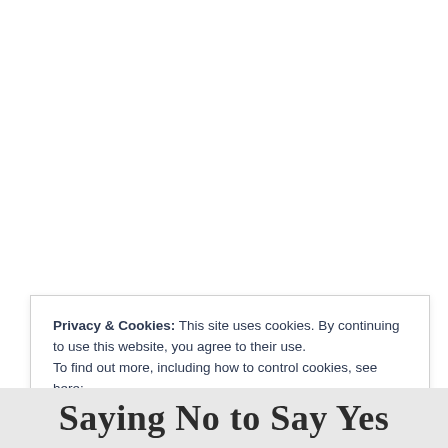Privacy & Cookies: This site uses cookies. By continuing to use this website, you agree to their use.
To find out more, including how to control cookies, see here:
Cookie Policy
Close and accept
Saying No to Say Yes